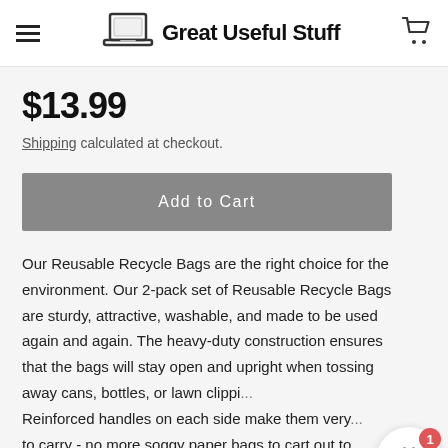Great Useful Stuff
$13.99
Shipping calculated at checkout.
Add to Cart
Our Reusable Recycle Bags are the right choice for the environment. Our 2-pack set of Reusable Recycle Bags are sturdy, attractive, washable, and made to be used again and again. The heavy-duty construction ensures that the bags will stay open and upright when tossing away cans, bottles, or lawn clippi... Reinforced handles on each side make them very... to carry - no more soggy paper bags to cart out to the trash! When you're ready to clean them, simply